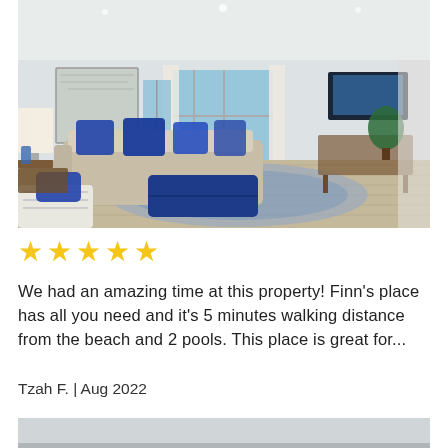[Figure (photo): Interior photo of a beach rental living room with beige sofas, blue throw pillows, a large blue ottoman, hardwood floors, a wall-mounted TV, and a sliding door to a balcony.]
★★★★★
We had an amazing time at this property! Finn's place has all you need and it's 5 minutes walking distance from the beach and 2 pools. This place is great for...
Tzah F. | Aug 2022
[Figure (photo): Partial view of a room interior, cropped at bottom of page.]